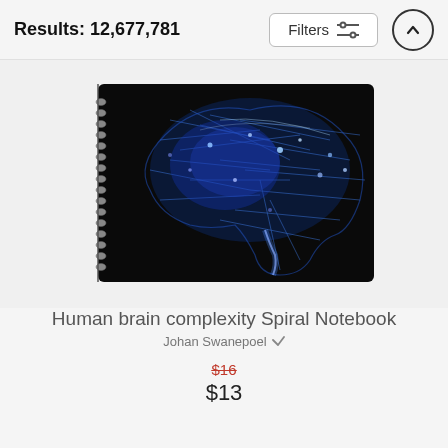Results: 12,677,781
[Figure (photo): A spiral-bound notebook with a cover image of a glowing blue neural network / human brain complexity illustration on a black background. The spiral binding is visible on the left side.]
Human brain complexity Spiral Notebook
Johan Swanepoel
$16  $13